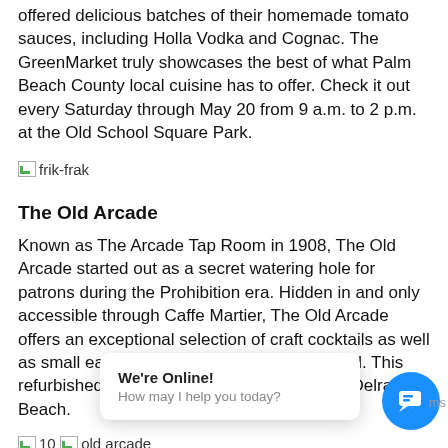offered delicious batches of their homemade tomato sauces, including Holla Vodka and Cognac. The GreenMarket truly showcases the best of what Palm Beach County local cuisine has to offer. Check it out every Saturday through May 20 from 9 a.m. to 2 p.m. at the Old School Square Park.
[Figure (photo): Broken/placeholder image with label 'frik-frak']
The Old Arcade
Known as The Arcade Tap Room in 1908, The Old Arcade started out as a secret watering hole for patrons during the Prohibition era. Hidden in and only accessible through Caffe Martier, The Old Arcade offers an exceptional selection of craft cocktails as well as small eats, including goat cheese flatbread. This refurbished speakeasy is a great addition to Delray Beach.
[Figure (photo): Broken/placeholder image with label '10']
[Figure (photo): Broken/placeholder image with label 'old arcade' (partially visible)]
We're Online! How may I help you today?